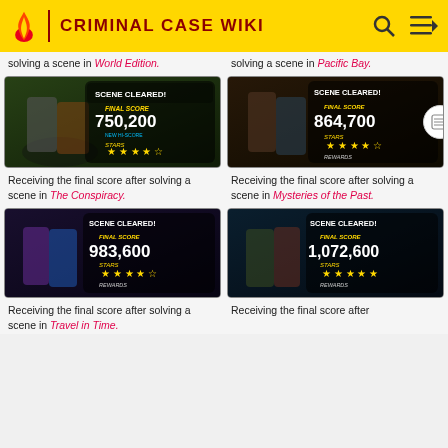CRIMINAL CASE WIKI
solving a scene in World Edition.
solving a scene in Pacific Bay.
[Figure (screenshot): Game screenshot showing Scene Cleared! screen with Final Score 750,200, stars and rewards in The Conspiracy]
[Figure (screenshot): Game screenshot showing Scene Cleared! screen with Final Score 864,700, stars and rewards in Mysteries of the Past]
Receiving the final score after solving a scene in The Conspiracy.
Receiving the final score after solving a scene in Mysteries of the Past.
[Figure (screenshot): Game screenshot showing Scene Cleared! screen with Final Score 983,600, stars and rewards in Travel in Time]
[Figure (screenshot): Game screenshot showing Scene Cleared! screen with Final Score 1,072,600, stars and rewards]
Receiving the final score after solving a scene in Travel in Time.
Receiving the final score after